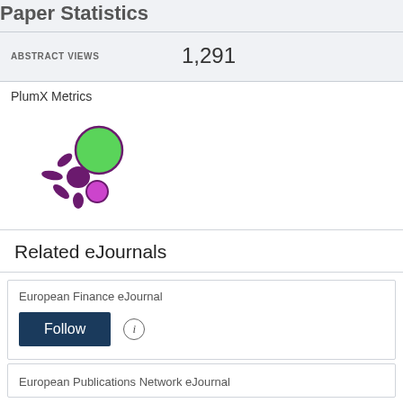Paper Statistics
ABSTRACT VIEWS   1,291
[Figure (logo): PlumX Metrics logo — purple splat/asterisk shape with a large green circle and a small magenta/pink circle]
Related eJournals
European Finance eJournal
Follow
European Publications Network eJournal